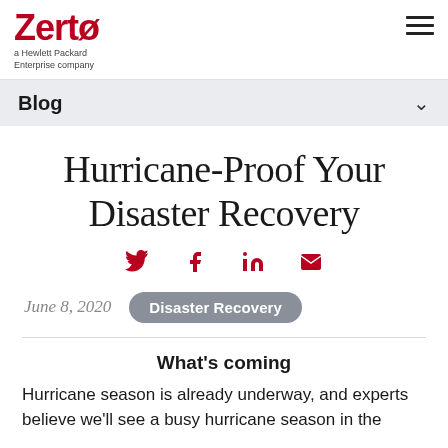Zerto — a Hewlett Packard Enterprise company
Blog
Hurricane-Proof Your Disaster Recovery
[Figure (infographic): Social share icons: Twitter, Facebook, LinkedIn, Email in dark red]
June 8, 2020  Disaster Recovery
What's coming
Hurricane season is already underway, and experts believe we'll see a busy hurricane season in the